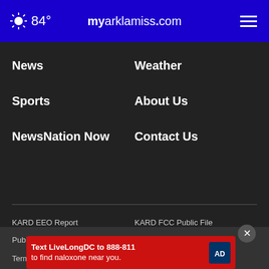84° myarklamiss.com
News
Weather
Sports
About Us
NewsNation Now
Contact Us
KARD EEO Report
KARD FCC Public File
KTVE FCC Public File
Nexstar CC Certification
Public File Assistance Contact
Privacy Policy
Terms Of Use
Do Not Sell My Personal
[Figure (infographic): Advertisement banner: Text LiveLongDC to 888-811 to find naloxone near you.]